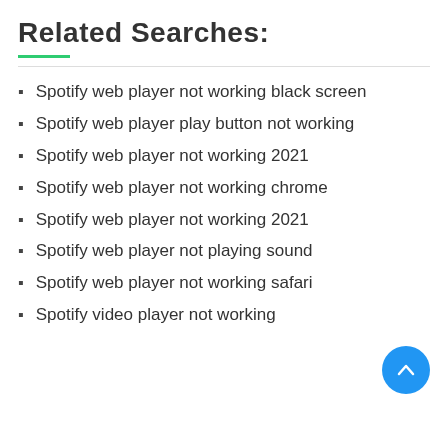Related Searches:
Spotify web player not working black screen
Spotify web player play button not working
Spotify web player not working 2021
Spotify web player not working chrome
Spotify web player not working 2021
Spotify web player not playing sound
Spotify web player not working safari
Spotify video player not working